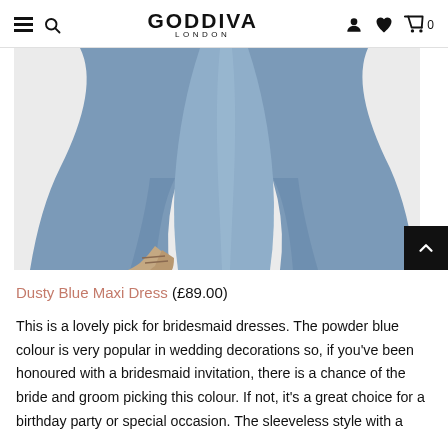GODDIVA LONDON
[Figure (photo): Lower portion of a model wearing a dusty blue maxi dress, showing the flowing skirt and sandaled feet against a white background.]
Dusty Blue Maxi Dress (£89.00)
This is a lovely pick for bridesmaid dresses. The powder blue colour is very popular in wedding decorations so, if you've been honoured with a bridesmaid invitation, there is a chance of the bride and groom picking this colour. If not, it's a great choice for a birthday party or special occasion. The sleeveless style with a